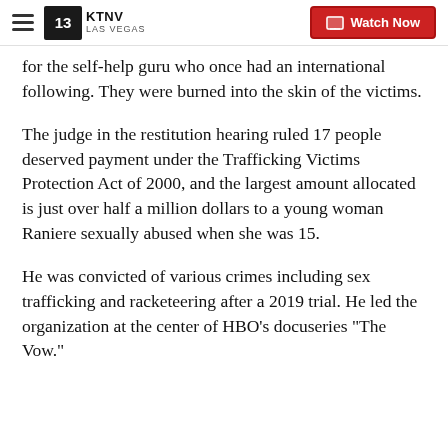KTNV LAS VEGAS | Watch Now
for the self-help guru who once had an international following. They were burned into the skin of the victims.
The judge in the restitution hearing ruled 17 people deserved payment under the Trafficking Victims Protection Act of 2000, and the largest amount allocated is just over half a million dollars to a young woman Raniere sexually abused when she was 15.
He was convicted of various crimes including sex trafficking and racketeering after a 2019 trial. He led the organization at the center of HBO's docuseries "The Vow."